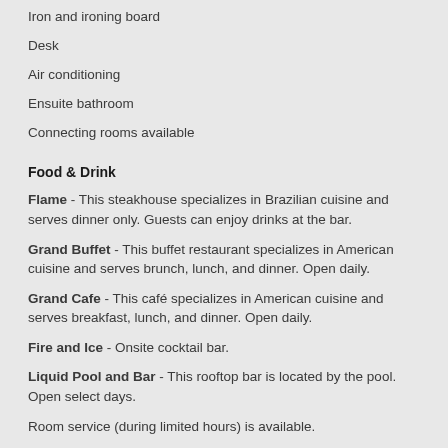Iron and ironing board
Desk
Air conditioning
Ensuite bathroom
Connecting rooms available
Food & Drink
Flame - This steakhouse specializes in Brazilian cuisine and serves dinner only. Guests can enjoy drinks at the bar.
Grand Buffet - This buffet restaurant specializes in American cuisine and serves brunch, lunch, and dinner. Open daily.
Grand Cafe - This café specializes in American cuisine and serves breakfast, lunch, and dinner. Open daily.
Fire and Ice - Onsite cocktail bar.
Liquid Pool and Bar - This rooftop bar is located by the pool. Open select days.
Room service (during limited hours) is available.
Nearby Activities